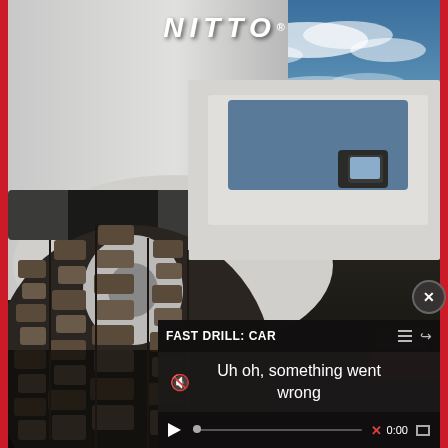[Figure (photo): Close-up low-angle photograph of a Nitto all-terrain tire on a white truck, showing aggressive tread pattern with deep lugs, muddy terrain, blue sky with clouds in background, side mirror of truck visible. NITTO logo displayed at top in white italic letters. Red vertical borders on left and right edges.]
FAST DRILL: CAR
Uh oh, something went wrong
0:00